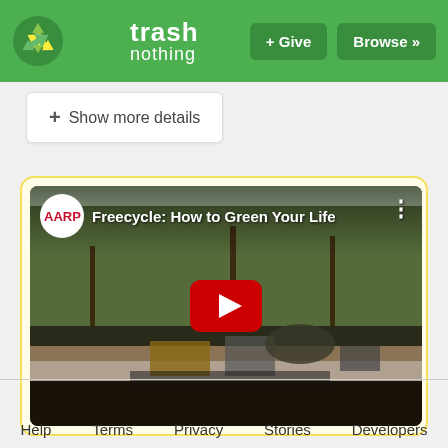trash nothing — + Give  Browse »
+ Show more details
[Figure (screenshot): YouTube video thumbnail for 'Freecycle: How to Green Your Life' by AARP, showing items placed on a curb for freecycling with a red YouTube play button overlay.]
Help   Terms   Privacy   Stories   Developers